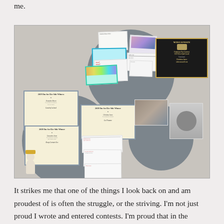me.
[Figure (photo): A bulletin board display on a wall featuring multiple circular grey felt boards covered with certificates, awards, index cards, photographs, and a black Wisconsin award plaque with gold lettering. A small white figurine with a gold crown sits at the bottom left.]
It strikes me that one of the things I look back on and am proudest of is often the struggle, or the striving. I'm not just proud I wrote and entered contests. I'm proud that in the